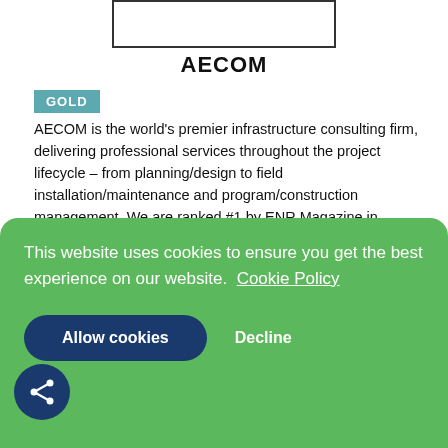[Figure (logo): AECOM logo placeholder box (white rectangle with border)]
AECOM
GOLD
AECOM is the world's premier infrastructure consulting firm, delivering professional services throughout the project lifecycle – from planning/design to field installation/maintenance and program/construction management. We are ranked #1 by ENR Magazine in Airports, Transportation, Program Management and Environmental services, and Fortune Magazine recently named AECOM the 2021 Most Admired Engineering and Construction firm.  Our partnerships with the FAA and NASA go back more than 40 years. In that time we have helped support many of their most important infrastructure projects, including the design of
This website uses cookies to ensure you get the best experience on our website.  Cookie Policy
Allow cookies
Decline
priorities. See how we deliver what others only imagine at aecom.com and @AECOM.